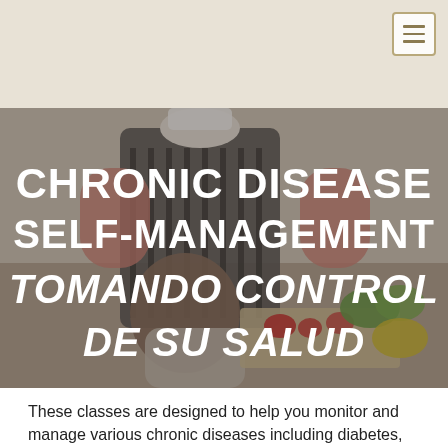[Figure (photo): A kitchen scene showing an adult in a striped apron and a child cooking together, with vegetables including tomatoes and greens on a cutting board. Text overlay reads: CHRONIC DISEASE SELF-MANAGEMENT / TOMANDO CONTROL DE SU SALUD]
These classes are designed to help you monitor and manage various chronic diseases including diabetes, pain, cancer, and more. Classes do not need a doctor referral.